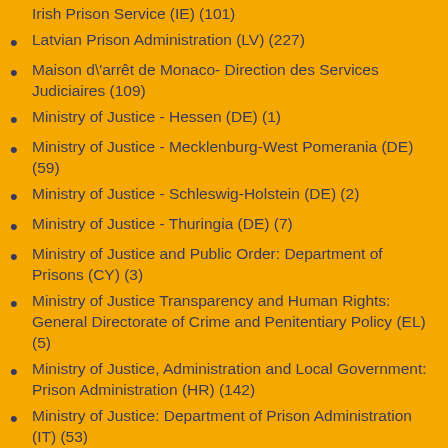Irish Prison Service (IE) (101)
Latvian Prison Administration (LV) (227)
Maison d\'arrêt de Monaco- Direction des Services Judiciaires (109)
Ministry of Justice - Hessen (DE) (1)
Ministry of Justice - Mecklenburg-West Pomerania (DE) (59)
Ministry of Justice - Schleswig-Holstein (DE) (2)
Ministry of Justice - Thuringia (DE) (7)
Ministry of Justice and Public Order: Department of Prisons (CY) (3)
Ministry of Justice Transparency and Human Rights: General Directorate of Crime and Penitentiary Policy (EL) (5)
Ministry of Justice, Administration and Local Government: Prison Administration (HR) (142)
Ministry of Justice: Department of Prison Administration (IT) (53)